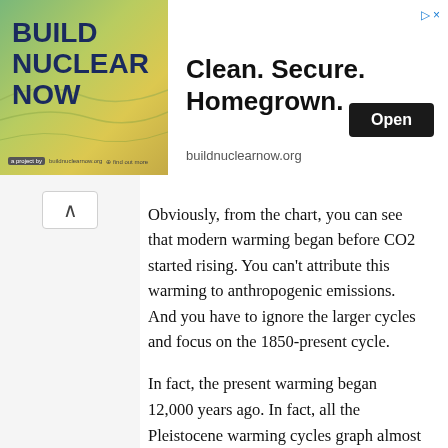[Figure (infographic): Advertisement banner for Build Nuclear Now. Left side shows stylized landscape graphic with text 'BUILD NUCLEAR NOW' in dark blue bold font on gradient green/yellow background. Right side shows text 'Clean. Secure. Homegrown.' with 'Open' button and URL 'buildnuclearnow.org'.]
Obviously, from the chart, you can see that modern warming began before CO2 started rising. You can't attribute this warming to anthropogenic emissions. And you have to ignore the larger cycles and focus on the 1850-present cycle.
In fact, the present warming began 12,000 years ago. In fact, all the Pleistocene warming cycles graph almost exactly the same as the present Holocene cycle, which incidentally is the coldest of all.